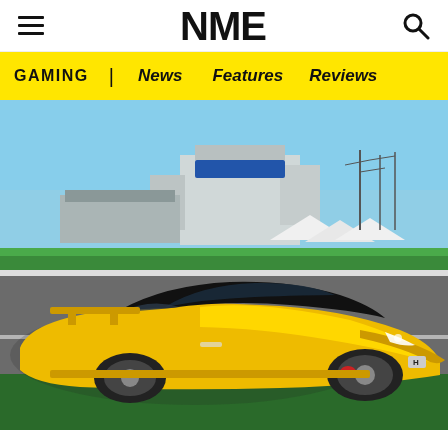NME
GAMING | News Features Reviews
[Figure (photo): A yellow Honda Civic Type R sports car on a racing track with grandstand buildings and power lines in the background — appears to be a Gran Turismo video game screenshot.]